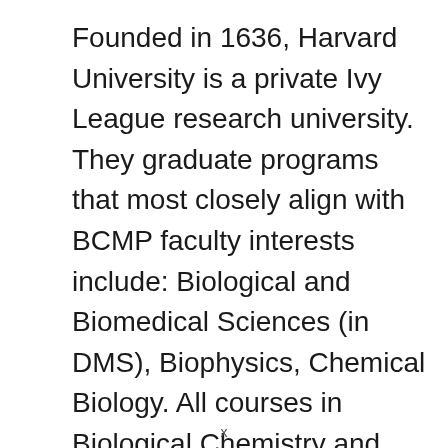Founded in 1636, Harvard University is a private Ivy League research university. They graduate programs that most closely align with BCMP faculty interests include: Biological and Biomedical Sciences (in DMS), Biophysics, Chemical Biology. All courses in Biological Chemistry and Molecular Pharmacology are subject to the limitation in enrollment and will not be offered unless there is sufficient demand.
The biochemistry degree program at Harvard